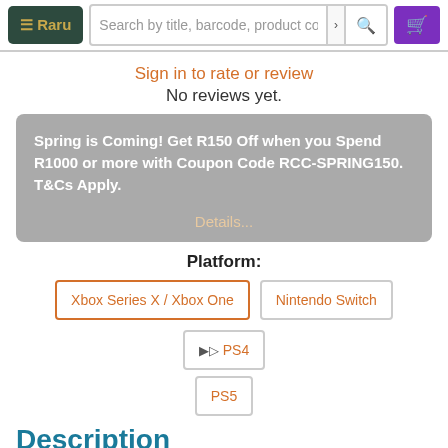≡ Raru | Search by title, barcode, product code
Sign in to rate or review
No reviews yet.
Spring is Coming! Get R150 Off when you Spend R1000 or more with Coupon Code RCC-SPRING150. T&Cs Apply.
Details...
Platform:
Xbox Series X / Xbox One
Nintendo Switch
PS4
PS5
Description
The galaxy is yours in LEGO® Star Wars™: The Skywalker Saga. In this brand-new console game, players will experience memorable moments and nonstop action from all nine Skywalker saga films retold with signature LEGO® humour, including the highly anticipated